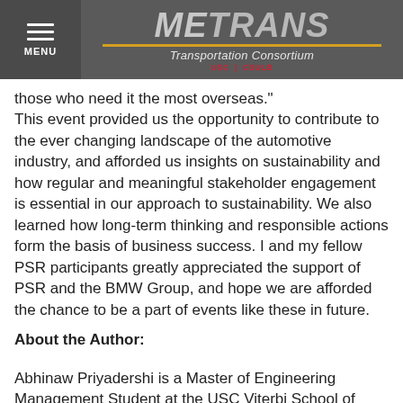METRANS Transportation Consortium USC | CSULB
those who need it the most overseas." This event provided us the opportunity to contribute to the ever changing landscape of the automotive industry, and afforded us insights on sustainability and how regular and meaningful stakeholder engagement is essential in our approach to sustainability. We also learned how long-term thinking and responsible actions form the basis of business success. I and my fellow PSR participants greatly appreciated the support of PSR and the BMW Group, and hope we are afforded the chance to be a part of events like these in future.
About the Author:
Abhinaw Priyadershi is a Master of Engineering Management Student at the USC Viterbi School of Engineering, and is the Operational and Administrative Lead for the